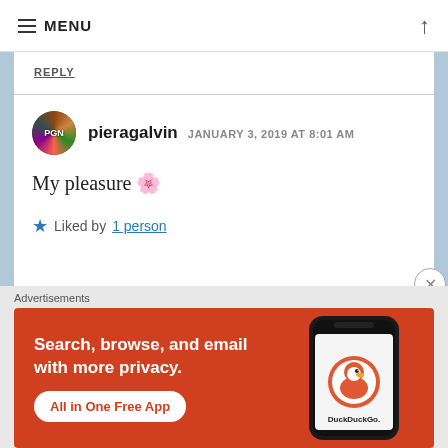MENU
REPLY
pieragalvin  JANUARY 3, 2019 AT 8:01 AM
My pleasure 🌸
★ Liked by 1 person
Advertisements
[Figure (other): DuckDuckGo advertisement banner: 'Search, browse, and email with more privacy. All in One Free App' with phone showing DuckDuckGo app]